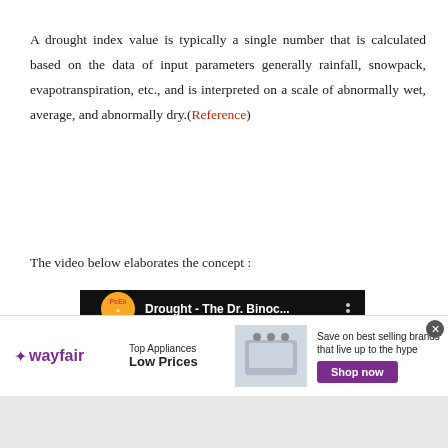A drought index value is typically a single number that is calculated based on the data of input parameters generally rainfall, snowpack, evapotranspiration, etc., and is interpreted on a scale of abnormally wet, average, and abnormally dry.(Reference)
The video below elaborates the concept :
[Figure (screenshot): YouTube video thumbnail showing 'Drought - The Dr. Binoc...' with Peekaboo logo and the word DROUGHT in large brown letters on a colorful background]
[Figure (screenshot): Wayfair advertisement bar: Top Appliances Low Prices, Save on best selling brands that live up to the hype, Shop now button]